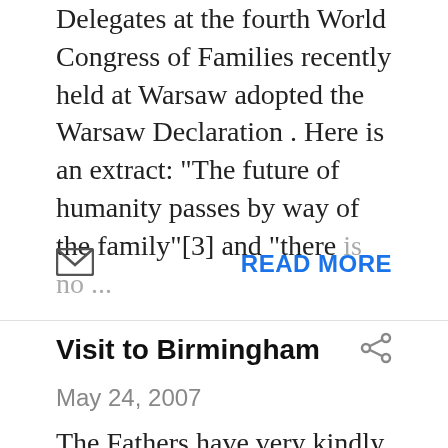Delegates at the fourth World Congress of Families recently held at Warsaw adopted the Warsaw Declaration . Here is an extract: "The future of humanity passes by way of the family"[3] and "there is no ...
READ MORE
Visit to Birmingham
May 24, 2007
The Fathers have very kindly invited me to preach at the Birmingham Oratory for the Feast of St Philip Neri on Saturday. I will be travelling up to Birmingham tomorrow and meeting first at the hous ...